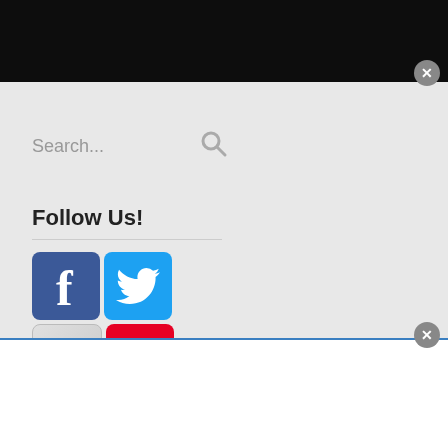[Figure (screenshot): Dark black banner at the top of the page, partial website header]
[Figure (screenshot): Close button (X) circle in gray at top right of dark banner]
Search...
Follow Us!
[Figure (logo): Facebook icon button (blue with white F)]
[Figure (logo): Twitter icon button (light blue with white bird)]
[Figure (logo): YouTube icon button (gray background with red YouTube tube text)]
[Figure (logo): Pinterest icon button (red with white P)]
[Figure (screenshot): White panel at bottom with blue top border]
[Figure (screenshot): Close button (X) circle in gray at bottom right]